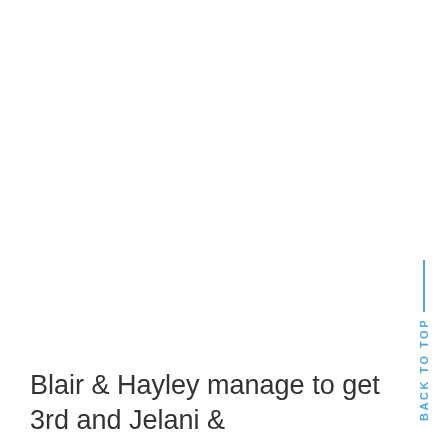BACK TO TOP
Blair & Hayley manage to get 3rd and Jelani &